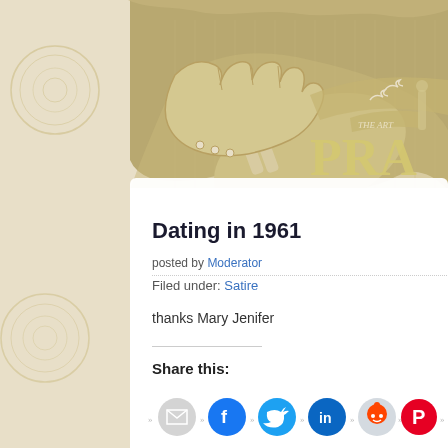[Figure (illustration): Decorative vintage-style header banner with a hand pointing, birds, and partial text reading 'THE ART PRA...' on an olive/tan background with a shield shape and watermark circles]
Dating in 1961
posted by Moderator
Filed under: Satire
thanks Mary Jenifer
Share this:
Share icons: Email, Facebook, Twitter, LinkedIn, Reddit, Pinterest, Pocket, Print